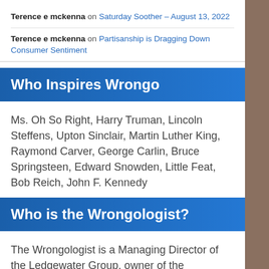Terence e mckenna on Saturday Soother – August 13, 2022
Terence e mckenna on Partisanship is Dragging Down Consumer Sentiment
Who Inspires Wrongo
Ms. Oh So Right, Harry Truman, Lincoln Steffens, Upton Sinclair, Martin Luther King, Raymond Carver, George Carlin, Bruce Springsteen, Edward Snowden, Little Feat, Bob Reich, John F. Kennedy
Who is the Wrongologist?
The Wrongologist is a Managing Director of the Ledgewater Group, owner of the Wrongologist Blog. Previously for 11 years, he was a division president for a